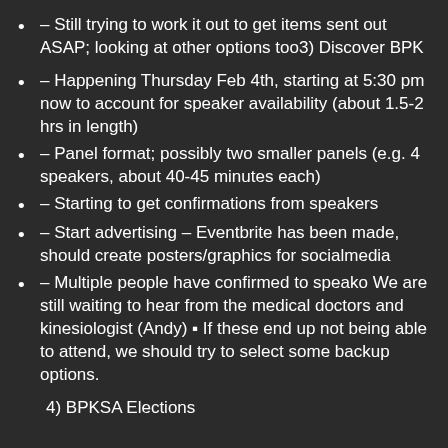– Still trying to work it out to get items sent out ASAP; looking at other options too3) Discover BPK
– Happening Thursday Feb 4th, starting at 5:30 pm now to account for speaker availability (about 1.5-2 hrs in length)
– Panel format; possibly two smaller panels (e.g. 4 speakers, about 40-45 minutes each)
– Starting to get confirmations from speakers
– Start advertising – Eventbrite has been made, should create posters/graphics for socialmedia
– Multiple people have confirmed to speako We are still waiting to hear from the medical doctors and kinesiologist (Andy) ▪ If these end up not being able to attend, we should try to select some backup options.
4) BPKSA Elections